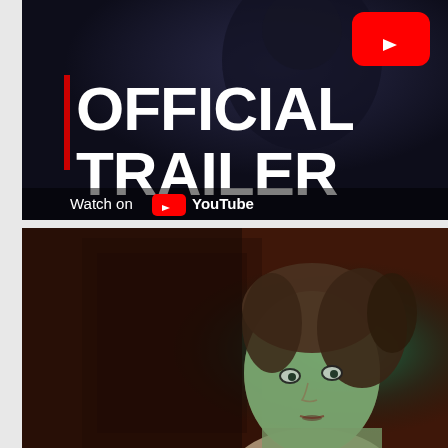[Figure (screenshot): YouTube video thumbnail showing an official trailer for a dark/horror film. Dark background with a shadowy figure at top. Large white bold text reads 'OFFICIAL TRAILER' with a red vertical bar on the left. YouTube play button icon (red rectangle with white triangle) in top right corner. 'Watch on YouTube' text with YouTube logo at bottom left.]
[Figure (photo): Movie still showing a young woman with brown hair lit by green/teal light, looking slightly upward with a serious expression. Dark reddish-brown background with what appears to be a door frame or wooden structure behind her.]